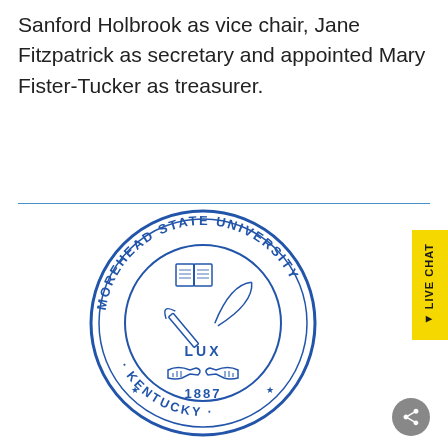Sanford Holbrook as vice chair, Jane Fitzpatrick as secretary and appointed Mary Fister-Tucker as treasurer.
[Figure (logo): Morehead State University seal — circular blue seal with text 'MOREHEAD STATE UNIVERSITY · KENTUCKY ·' around the outer ring, featuring an open book, crossed torch and quill, handshake, 'LUX' and '1887' in the center.]